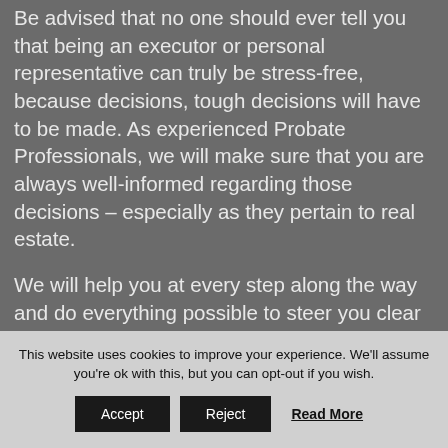Be advised that no one should ever tell you that being an executor or personal representative can truly be stress-free, because decisions, tough decisions will have to be made. As experienced Probate Professionals, we will make sure that you are always well-informed regarding those decisions – especially as they pertain to real estate.
We will help you at every step along the way and do everything possible to steer you clear of the minefields. Our goal is to make the process easier for you with us by your side, and the best part is you
This website uses cookies to improve your experience. We'll assume you're ok with this, but you can opt-out if you wish.